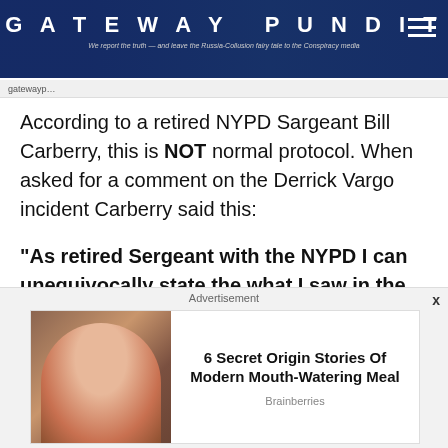GATEWAY PUNDIT — We report the truth — and leave the Russia-Collusion fairy tale to the Conspiracy media
According to a retired NYPD Sargeant Bill Carberry, this is NOT normal protocol. When asked for a comment on the Derrick Vargo incident Carberry said this:
“As retired Sergeant with the NYPD I can unequivocally state the what I saw in the video clip of Derrick Vargo is NOT proper
[Figure (screenshot): Advertisement banner: '6 Secret Origin Stories Of Modern Mouth-Watering Meal' by Brainberries, with photo of woman eating.]